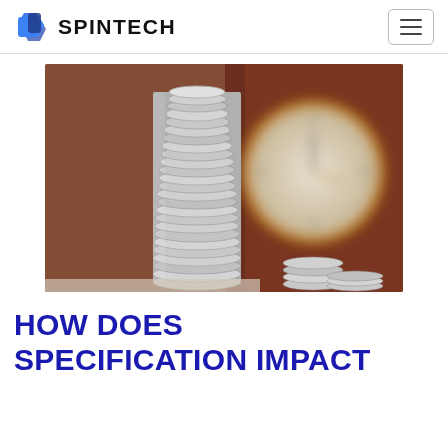SPINTECH
[Figure (photo): Stack of silver coins arranged in a tall tower with a blurred clock and dark wood background]
HOW DOES SPECIFICATION IMPACT